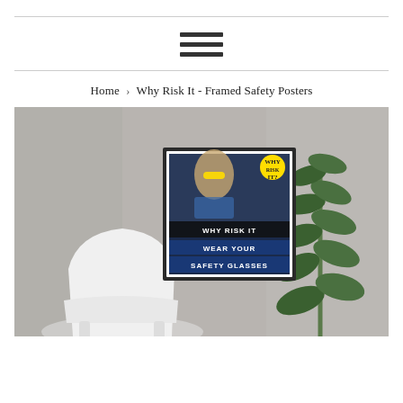≡ (hamburger menu icon)
Home › Why Risk It - Framed Safety Posters
[Figure (photo): Room scene photo showing a framed safety poster on a grey concrete wall. The poster reads 'WHY RISK IT / WEAR YOUR SAFETY GLASSES' with an image of a person wearing safety glasses. A white modern chair is in the foreground left, and a tall green plant is on the right.]